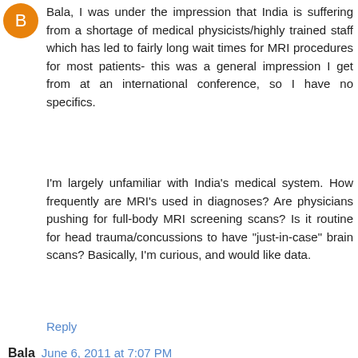[Figure (illustration): Orange circular avatar icon with letter B]
Bala, I was under the impression that India is suffering from a shortage of medical physicists/highly trained staff which has led to fairly long wait times for MRI procedures for most patients- this was a general impression I get from at an international conference, so I have no specifics.
I'm largely unfamiliar with India's medical system. How frequently are MRI's used in diagnoses? Are physicians pushing for full-body MRI screening scans? Is it routine for head trauma/concussions to have "just-in-case" brain scans? Basically, I'm curious, and would like data.
Reply
Bala  June 6, 2011 at 7:07 PM
Will,
By your own admission, you are quite unfamiliar with the way the healthcare business operates in India. With the exception of a monopoly over licensing and a few (usually rotten) government hospitals, people are free to offer and